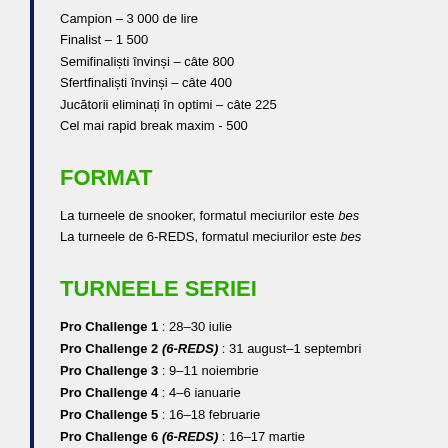Campion – 3 000 de lire
Finalist – 1 500
Semifinaliști învinși – câte 800
Sfertfinaliști învinși – câte 400
Jucătorii eliminați în optimi – câte 225
Cel mai rapid break maxim - 500
FORMAT
La turneele de snooker, formatul meciurilor este bes
La turneele de 6-REDS, formatul meciurilor este bes
TURNEELE SERIEI
Pro Challenge 1 : 28–30 iulie
Pro Challenge 2 (6-REDS) : 31 august–1 septembrie
Pro Challenge 3 : 9–11 noiembrie
Pro Challenge 4 : 4–6 ianuarie
Pro Challenge 5 : 16–18 februarie
Pro Challenge 6 (6-REDS) : 16–17 martie
Pro Challenge 7 (6-REDS) : 8–9 aprilie